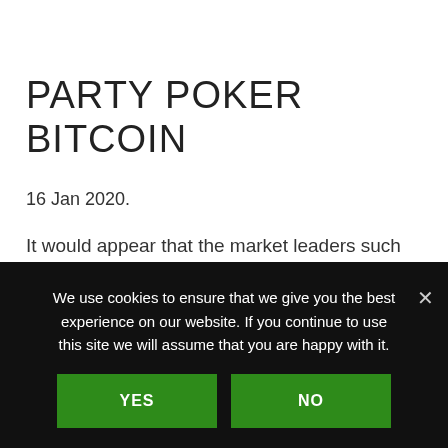PARTY POKER BITCOIN
16 Jan 2020.
It would appear that the market leaders such as PokerStars, and partypoker want nothing more to do with working in legal grey areas.
We use cookies to ensure that we give you the best experience on our website. If you continue to use this site we will assume that you are happy with it.